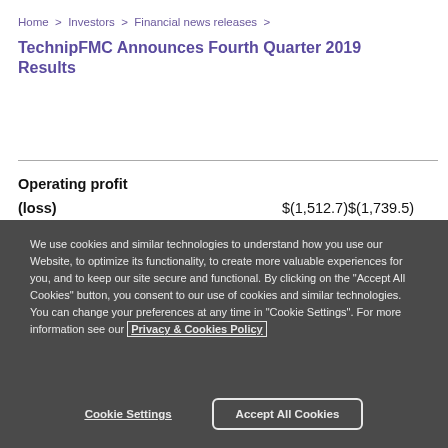Home > Investors > Financial news releases >
TechnipFMC Announces Fourth Quarter 2019 Results
Operating profit
|  |  |  |
| --- | --- | --- |
| (loss) | $(1,512.7) | $(1,739.5) |
We use cookies and similar technologies to understand how you use our Website, to optimize its functionality, to create more valuable experiences for you, and to keep our site secure and functional. By clicking on the "Accept All Cookies" button, you consent to our use of cookies and similar technologies. You can change your preferences at any time in "Cookie Settings". For more information see our Privacy & Cookies Policy
Cookie Settings   Accept All Cookies